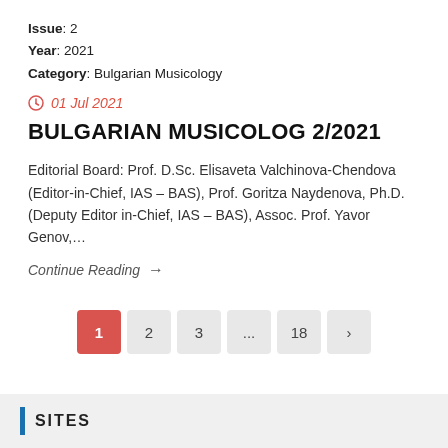Issue: 2
Year: 2021
Category: Bulgarian Musicology
01 Jul 2021
BULGARIAN MUSICOLOG 2/2021
Editorial Board: Prof. D.Sc. Elisaveta Valchinova-Chendova (Editor-in-Chief, IAS – BAS), Prof. Goritza Naydenova, Ph.D. (Deputy Editor in-Chief, IAS – BAS), Assoc. Prof. Yavor Genov,...
Continue Reading →
1 2 3 ... 18 ›
SITES